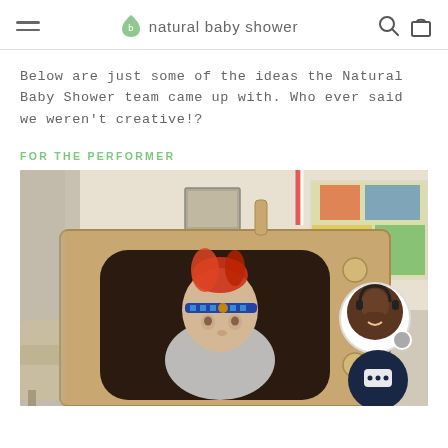natural baby shower
Below are just some of the ideas the Natural Baby Shower team came up with. Who ever said we weren't creative!?
FOR THE PERFORMER
[Figure (photo): Child wearing a feathered headband sitting inside a cardboard box shaped like a vintage television set, with a customer service agent chat widget overlay in the bottom right corner.]